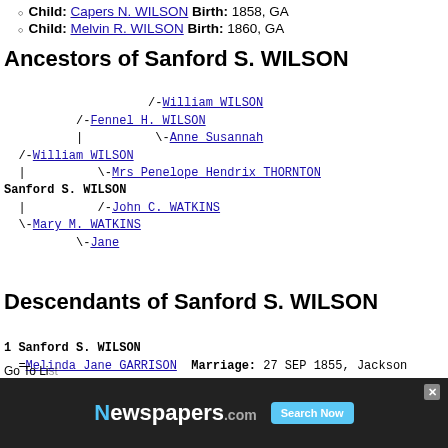Child: Capers N. WILSON Birth: 1858, GA
Child: Melvin R. WILSON Birth: 1860, GA
Ancestors of Sanford S. WILSON
[Figure (other): Ancestor tree diagram for Sanford S. WILSON showing: /-William WILSON, /-Fennel H. WILSON, | \-Anne Susannah, /-William WILSON, | \-Mrs Penelope Hendrix THORNTON, Sanford S. WILSON, | /-John C. WATKINS, \-Mary M. WATKINS, \-Jane]
Descendants of Sanford S. WILSON
1 Sanford S. WILSON
  =Melinda Jane GARRISON  Marriage: 27 SEP 1855, Jackson
    2 Capers N. WILSON
    2 Melvin R. WILSON
[Figure (other): Newspapers.com advertisement banner with Search Now button]